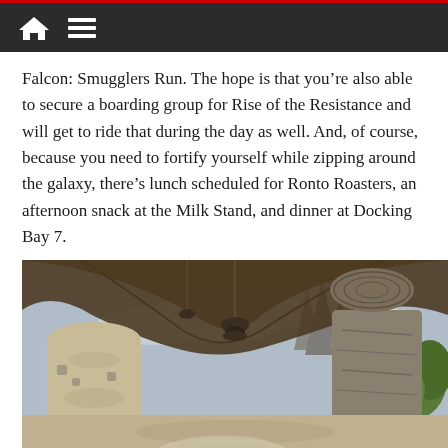Navigation bar with home and menu icons
Falcon: Smugglers Run. The hope is that you’re also able to secure a boarding group for Rise of the Resistance and will get to ride that during the day as well. And, of course, because you need to fortify yourself while zipping around the galaxy, there’s lunch scheduled for Ronto Roasters, an afternoon snack at the Milk Stand, and dinner at Docking Bay 7.
[Figure (photo): Wide panoramic view of Star Wars: Galaxy’s Edge theme park at Disney, showing alien architecture including a large stone arch in the foreground, a rounded cream-colored tower building on the left, rocky spire formations in the background, mechanical hanging fixtures, and partly cloudy sky. Below the main photo are two smaller thumbnail images showing crowds in the park area.]